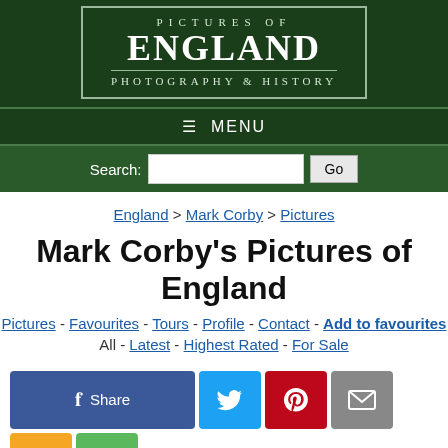[Figure (logo): Pictures of England logo — dark green background with white serif text reading PICTURES OF / ENGLAND / PHOTOGRAPHY & HISTORY inside a bordered box]
☰ MENU
Search: [input] Go
England > Mark Corby > Pictures
Mark Corby's Pictures of England
Pictures - Favourites - Tours - Profile - Contact - Add to favourites
All - Latest - Highest Rated - For Sale
[Figure (screenshot): Social share buttons row: Facebook Share, Twitter, Pinterest, Email, SMS, Share]